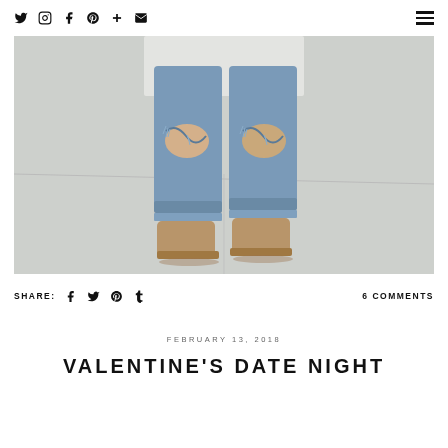Twitter Instagram Facebook Pinterest + Email [hamburger menu]
[Figure (photo): Close-up photo of a person's legs wearing ripped/distressed blue jeans rolled at the ankle and tan suede ankle boots, standing on a light gray concrete surface]
SHARE: [facebook] [twitter] [pinterest] [tumblr]   6 COMMENTS
FEBRUARY 13, 2018
VALENTINE'S DATE NIGHT